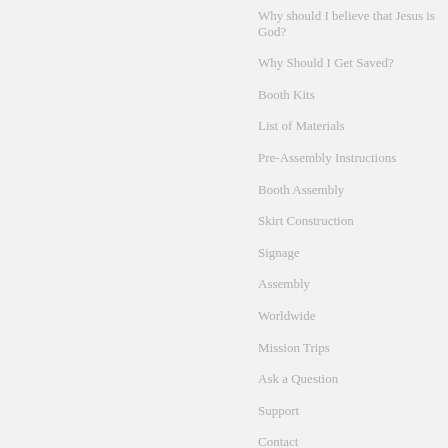Why should I believe that Jesus is God?
Why Should I Get Saved?
Booth Kits
List of Materials
Pre-Assembly Instructions
Booth Assembly
Skirt Construction
Signage
Assembly
Worldwide
Mission Trips
Ask a Question
Support
Contact
Welcome to Jesus Booth Ministries